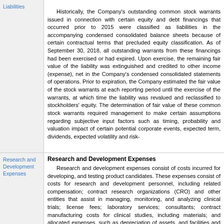Liabilities
Historically, the Company's outstanding common stock warrants issued in connection with certain equity and debt financings that occurred prior to 2015 were classified as liabilities in the accompanying condensed consolidated balance sheets because of certain contractual terms that precluded equity classification. As of September 30, 2018, all outstanding warrants from these financings had been exercised or had expired. Upon exercise, the remaining fair value of the liability was extinguished and credited to other income (expense), net in the Company's condensed consolidated statements of operations. Prior to expiration, the Company estimated the fair value of the stock warrants at each reporting period until the exercise of the warrants, at which time the liability was revalued and reclassified to stockholders' equity. The determination of fair value of these common stock warrants required management to make certain assumptions regarding subjective input factors such as timing, probability and valuation impact of certain potential corporate events, expected term, dividends, expected volatility and risk-free rate.
Research and Development Expenses
Research and Development Expenses
Research and development expenses consist of costs incurred for developing, and testing product candidates. These expenses consist of costs for research and development personnel, including related compensation; contract research organizations (CRO) and other entities that assist in managing, monitoring, and analyzing clinical trials; license fees; laboratory services; consultants; contract manufacturing costs for clinical studies, including materials; and allocated expenses, such as depreciation of assets, and facilities and information technology that support research and development activities. Research and development costs are expensed as incurred, including expenses that may or may not be reimbursed...